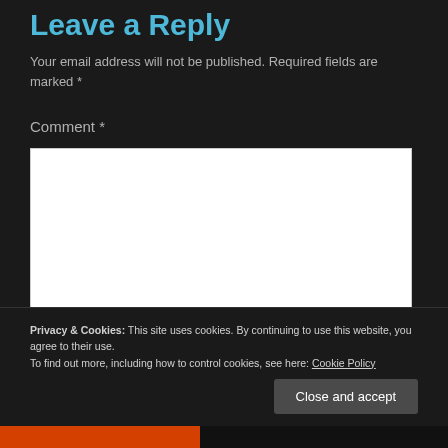Leave a Reply
Your email address will not be published. Required fields are marked *
Comment *
[Figure (other): Empty white comment text area input box]
Privacy & Cookies: This site uses cookies. By continuing to use this website, you agree to their use.
To find out more, including how to control cookies, see here: Cookie Policy
Close and accept